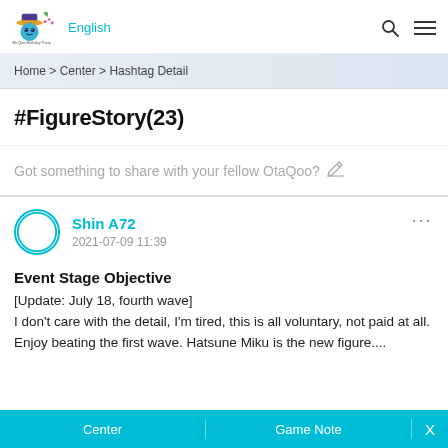QooApp English
Home > Center > Hashtag Detail
#FigureStory(23)
Got something to share with your fellow OtaQoo? ✏
Shin A72
2021-07-09 11:39
Event Stage Objective
[Update: July 18, fourth wave]
I don't care with the detail, I'm tired, this is all voluntary, not paid at all.
Enjoy beating the first wave. Hatsune Miku is the new figure....
Center  Game Note  X